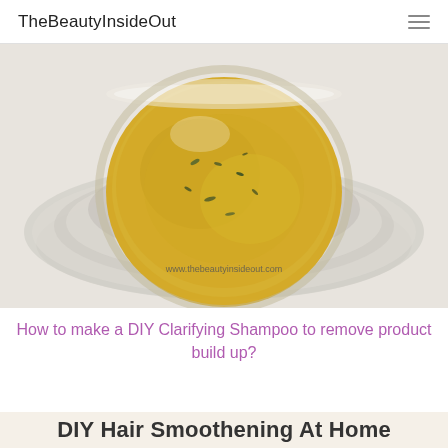TheBeautyInsideOut
[Figure (photo): Top-down photo of a glass bowl containing a yellow-green mixture (DIY clarifying shampoo) on a glass plate, with watermark text www.thebeautyinsideout.com]
How to make a DIY Clarifying Shampoo to remove product build up?
DIY Hair Smoothening At Home